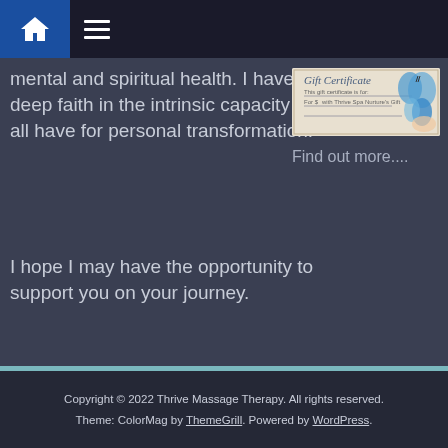Navigation bar with home icon and menu icon
mental and spiritual health. I have a deep faith in the intrinsic capacity we all have for personal transformation.
I hope I may have the opportunity to support you on your journey.
[Figure (other): Gift certificate image showing a blue butterfly and handwritten-style text]
Find out more....
Copyright © 2022 Thrive Massage Therapy. All rights reserved. Theme: ColorMag by ThemeGrill. Powered by WordPress.